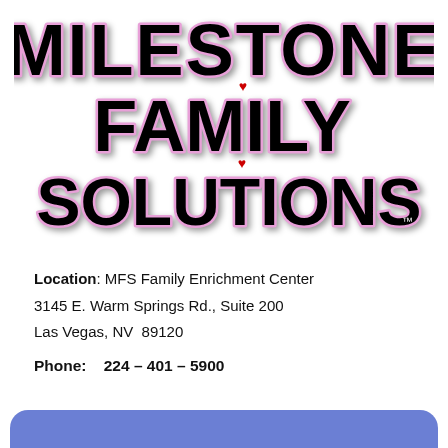[Figure (logo): Milestone Family Solutions logo with large stylized black text with pink outline and red heart accents on a white background]
Location: MFS Family Enrichment Center
3145 E. Warm Springs Rd., Suite 200
Las Vegas, NV  89120
Phone:   224 – 401 – 5900